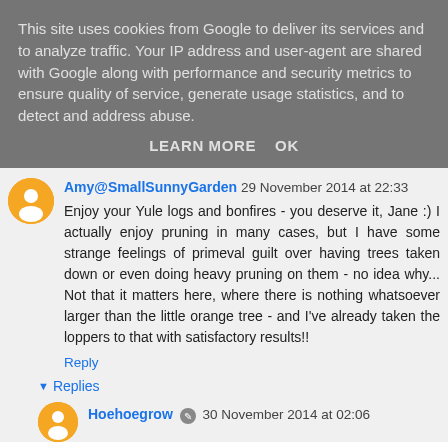This site uses cookies from Google to deliver its services and to analyze traffic. Your IP address and user-agent are shared with Google along with performance and security metrics to ensure quality of service, generate usage statistics, and to detect and address abuse.
LEARN MORE    OK
Amy@SmallSunnyGarden 29 November 2014 at 22:33
Enjoy your Yule logs and bonfires - you deserve it, Jane :) I actually enjoy pruning in many cases, but I have some strange feelings of primeval guilt over having trees taken down or even doing heavy pruning on them - no idea why... Not that it matters here, where there is nothing whatsoever larger than the little orange tree - and I've already taken the loppers to that with satisfactory results!!
Reply
Replies
Hoehoegrow 30 November 2014 at 02:06